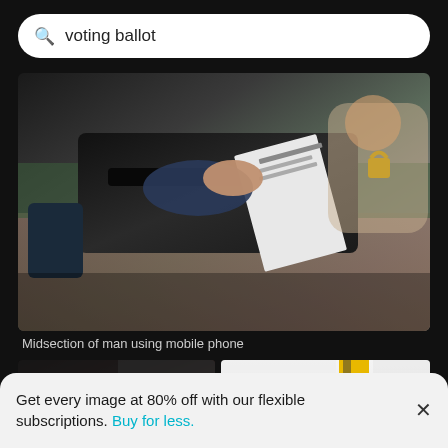voting ballot
[Figure (photo): Person inserting a ballot paper into a black voting machine/ballot box on a table, with another person visible in the background]
Midsection of man using mobile phone
[Figure (photo): Close-up of a hand holding a light blue ballot paper, with dark clothing background]
[Figure (photo): Close-up of a black and yellow pen or marker standing upright against a light/white background]
Get every image at 80% off with our flexible subscriptions. Buy for less.